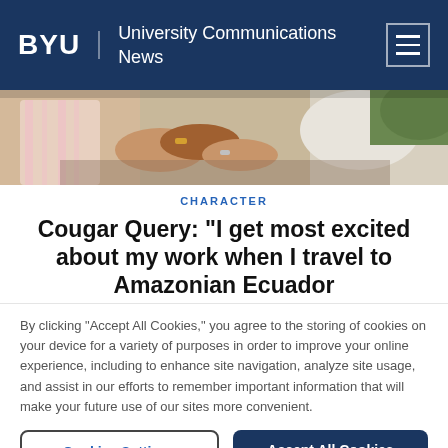BYU | University Communications News
[Figure (photo): Cropped photo showing hands of people gathered around a table outdoors]
CHARACTER
Cougar Query: “I get most excited about my work when I travel to Amazonian Ecuador
By clicking “Accept All Cookies,” you agree to the storing of cookies on your device for a variety of purposes in order to improve your online experience, including to enhance site navigation, analyze site usage, and assist in our efforts to remember important information that will make your future use of our sites more convenient.
Cookies Settings | Accept All Cookies